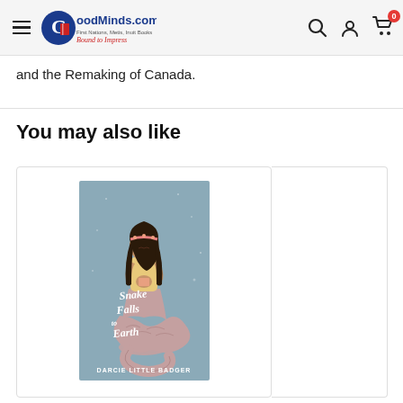GoodMinds.com — First Nations, Metis, Inuit Books — Bound to Impress
and the Remaking of Canada.
You may also like
[Figure (photo): Book cover of 'Snake Falls to Earth' by Darcie Little Badger. A teal/muted blue-green background showing an Indigenous girl with long black hair wearing a yellow top and pink/mauve snake-patterned lower body merging into a snake tail. The title 'Snake Falls to Earth' is written in white handwritten script across the lower portion of the cover, and the author name 'DARCIE LITTLE BADGER' appears at the bottom.]